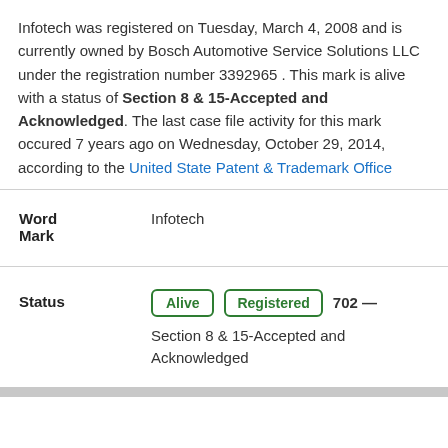Infotech was registered on Tuesday, March 4, 2008 and is currently owned by Bosch Automotive Service Solutions LLC under the registration number 3392965 . This mark is alive with a status of Section 8 & 15-Accepted and Acknowledged. The last case file activity for this mark occured 7 years ago on Wednesday, October 29, 2014, according to the United State Patent & Trademark Office
| Field | Value |
| --- | --- |
| Word Mark | Infotech |
| Status | Alive | Registered 702 — Section 8 & 15-Accepted and Acknowledged |